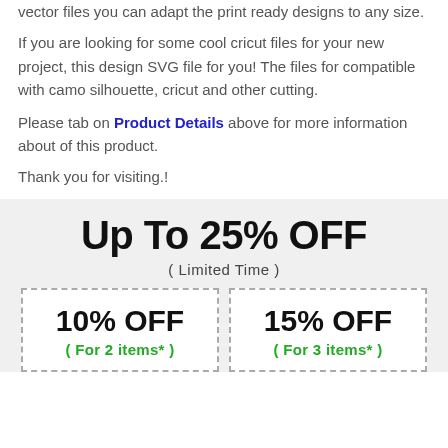vector files you can adapt the print ready designs to any size.
If you are looking for some cool cricut files for your new project, this design SVG file for you! The files for compatible with camo silhouette, cricut and other cutting.
Please tab on Product Details above for more information about of this product.
Thank you for visiting.!
Up To 25% OFF
( Limited Time )
10% OFF
( For 2 items* )
15% OFF
( For 3 items* )